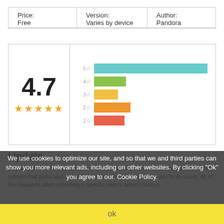| Price: | Version: | Author: |
| --- | --- | --- |
| Free | Varies by device | Pandora |
[Figure (bar-chart): App Rating 4.7]
Update
Pandora mobile has a new amazing feature called "For You". It is a personalized system that picks and recommends specific, customized music to its users. All of this happens after exploiting a specific user's search history.
Brief
We use cookies to optimize our site, and so that we and third parties can show you more relevant ads, including on other websites. By clicking "Ok" you agree to our. Cookie Policy.